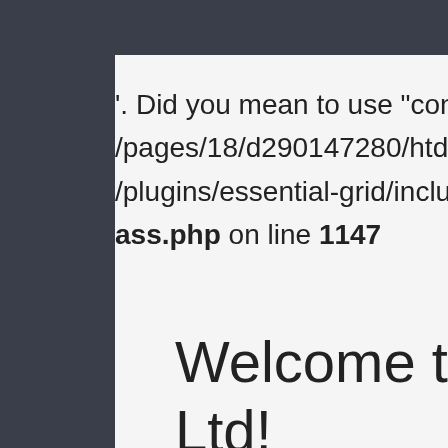'. Did you mean to use "continue 2"? in /pages/18/d290147280/htdocs/clickandbuild/plugins/essential-grid/includes/item-ass.php on line 1147
Welcome to Surrey Printers Ltd!
These terms and conditions outline the